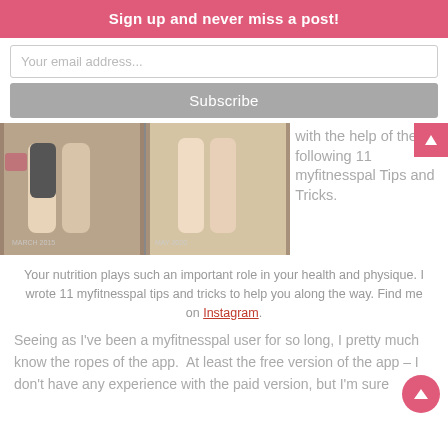Sign up and never miss a post!
Your email address...
Subscribe
[Figure (photo): Before and after photo of legs, showing weight loss progress. Two side-by-side mirror selfie photos of legs dated March 2015 and May 2020.]
with the help of the following 11 myfitnesspal Tips and Tricks.
Your nutrition plays such an important role in your health and physique. I wrote 11 myfitnesspal tips and tricks to help you along the way. Find me on Instagram.
Seeing as I've been a myfitnesspal user for so long, I pretty much know the ropes of the app.  At least the free version of the app – I don't have any experience with the paid version, but I'm sure